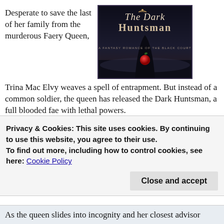Desperate to save the last of her family from the murderous Faery Queen, Trina Mac Elvy weaves a spell of entrapment. But instead of a common soldier, the queen has released the Dark Huntsman, a full blooded fae with lethal powers.
[Figure (illustration): Book cover for 'The Dark Huntsman: A Fantasy Romance of the Black Court' showing a dark fantasy scene with a red apple and ornate title text]
Caged for treason, Logan Ni Brennan, is ready to do anything to win free of the manipulative queen, even if it
Privacy & Cookies: This site uses cookies. By continuing to use this website, you agree to their use.
To find out more, including how to control cookies, see here: Cookie Policy
Close and accept
As the queen slides into incognity and her closest advisor